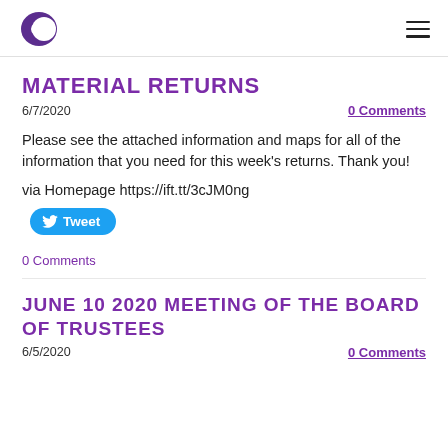C [logo] [hamburger menu]
MATERIAL RETURNS
6/7/2020
0 Comments
Please see the attached information and maps for all of the information that you need for this week's returns. Thank you!
via Homepage https://ift.tt/3cJM0ng
[Figure (other): Twitter Tweet button (blue rounded rectangle with bird icon and 'Tweet' text)]
0 Comments
JUNE 10 2020 MEETING OF THE BOARD OF TRUSTEES
6/5/2020
0 Comments